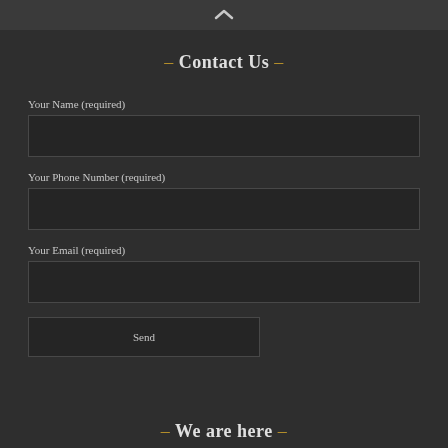– Contact Us –
Your Name (required)
Your Phone Number (required)
Your Email (required)
Send
– We are here –